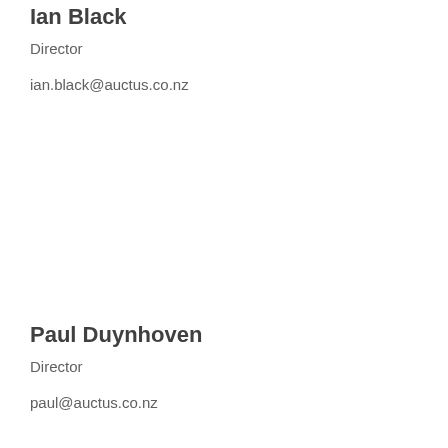Ian Black
Director
ian.black@auctus.co.nz
Paul Duynhoven
Director
paul@auctus.co.nz